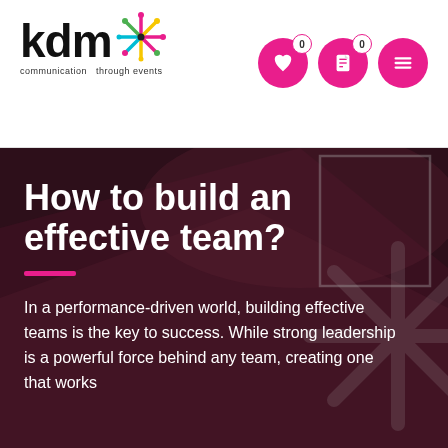[Figure (logo): KDM logo with colorful asterisk/starburst icon, text 'kdm' in bold black, tagline 'communication through events']
[Figure (other): Navigation icons: heart icon with badge '0', document icon with badge '0', hamburger menu icon — all on pink circular buttons]
How to build an effective team?
In a performance-driven world, building effective teams is the key to success. While strong leadership is a powerful force behind any team, creating one that works